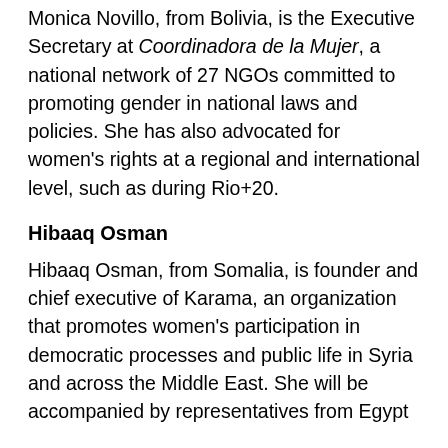Monica Novillo, from Bolivia, is the Executive Secretary at Coordinadora de la Mujer, a national network of 27 NGOs committed to promoting gender in national laws and policies. She has also advocated for women's rights at a regional and international level, such as during Rio+20.
Hibaaq Osman
Hibaaq Osman, from Somalia, is founder and chief executive of Karama, an organization that promotes women's participation in democratic processes and public life in Syria and across the Middle East. She will be accompanied by representatives from Egypt